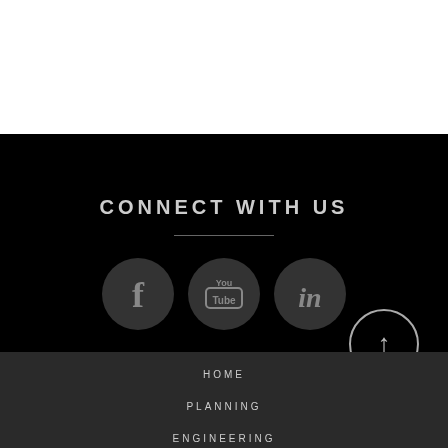CONNECT WITH US
[Figure (infographic): Three circular social media icons: Facebook (f), YouTube (You Tube), LinkedIn (in) on black background]
[Figure (other): Circular scroll-to-top button with upward arrow]
HOME
PLANNING
ENGINEERING